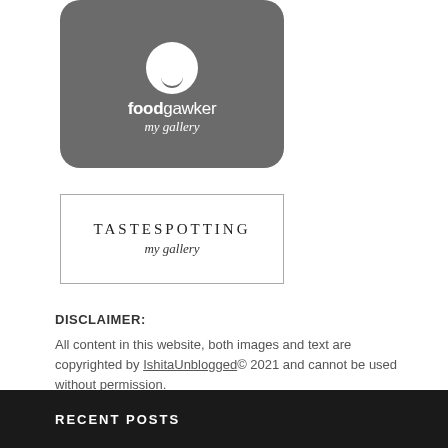[Figure (logo): Foodgawker 'my gallery' badge — dark gray rounded square with white circle icon, bold white text 'foodgawker' and italic 'my gallery']
[Figure (logo): TasteSpotting 'my gallery' badge — white rectangle with thin border, small-caps serif 'TASTESPOTTING' and italic 'my gallery']
DISCLAIMER:
All content in this website, both images and text are copyrighted by IshitaUnblogged© 2021 and cannot be used without permission.
RECENT POSTS